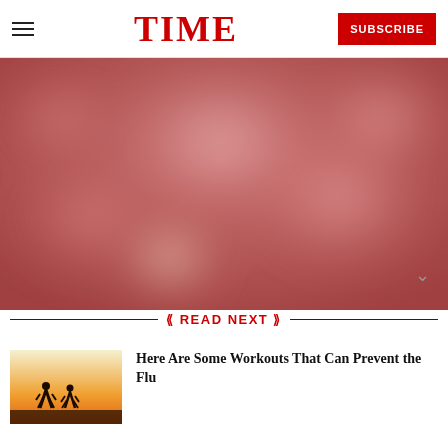TIME — SUBSCRIBE
[Figure (photo): Blurred abstract reddish-pink bokeh image, used as article hero photo]
READ NEXT
[Figure (photo): Silhouette of two runners against a warm orange-yellow sunset sky thumbnail image]
Here Are Some Workouts That Can Prevent the Flu